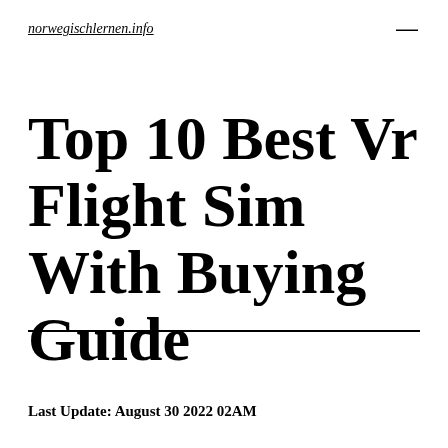norwegischlernen.info
Top 10 Best Vr Flight Sim With Buying Guide
Last Update: August 30 2022 02AM